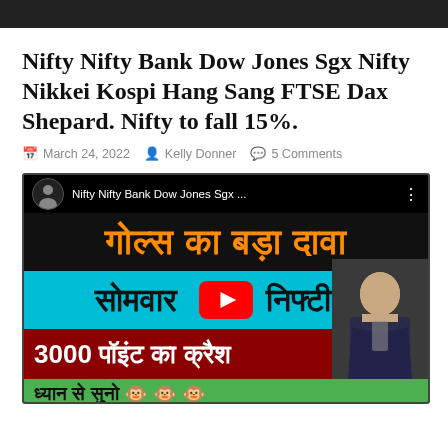Nifty Nifty Bank Dow Jones Sgx Nifty Nikkei Kospi Hang Sang FTSE Dax Shepard. Nifty to fall 15%.
March 24, 2022   Kelly Donner   5 Comments
[Figure (screenshot): YouTube video thumbnail for 'Nifty Nifty Bank Dow Jones Sgx...' showing Hindi text: 'गोल्स का बड़ा दावा', 'सोमवार निफ्टी में', '3000 पॉइंट का क्रैश', 'ध्यान से सुनो' with monkey emojis, YouTube play button in center, and a man in suit on the right side.]